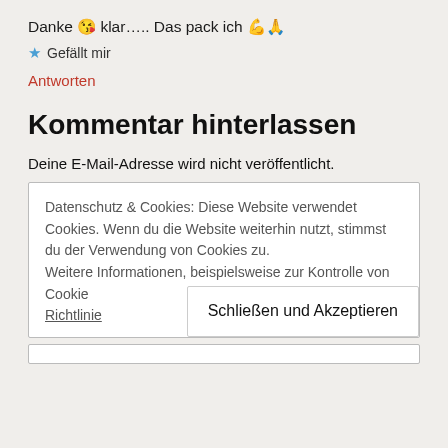Danke 😘 klar….. Das pack ich 💪🙏
★ Gefällt mir
Antworten
Kommentar hinterlassen
Deine E-Mail-Adresse wird nicht veröffentlicht.
Datenschutz & Cookies: Diese Website verwendet Cookies. Wenn du die Website weiterhin nutzt, stimmst du der Verwendung von Cookies zu. Weitere Informationen, beispielsweise zur Kontrolle von Cookies, findest du hier: Cookie-Richtlinie
Schließen und Akzeptieren